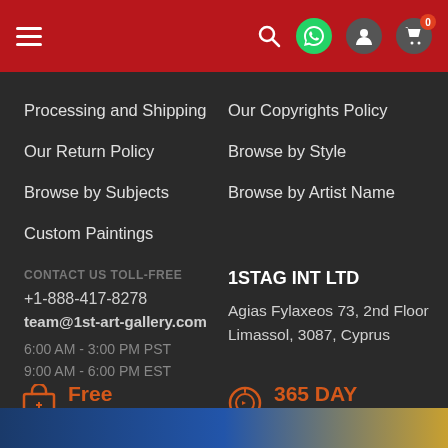Navigation header with hamburger menu, search, WhatsApp, user, and cart icons
Processing and Shipping
Our Copyrights Policy
Our Return Policy
Browse by Style
Browse by Subjects
Browse by Artist Name
Custom Paintings
CONTACT US TOLL-FREE
+1-888-417-8278
team@1st-art-gallery.com
6:00 AM - 3:00 PM PST
9:00 AM - 6:00 PM EST
1STAG INT LTD
Agias Fylaxeos 73, 2nd Floor
Limassol, 3087, Cyprus
Free
Worldwide shipping included
365 DAY
Money Back Guarantee